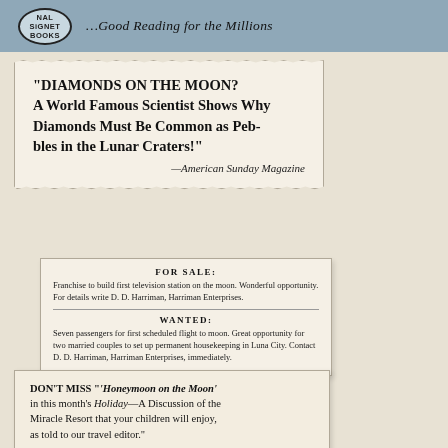SIGNET BOOKS ...Good Reading for the Millions
"DIAMONDS ON THE MOON? A World Famous Scientist Shows Why Diamonds Must Be Common as Pebbles in the Lunar Craters!" —American Sunday Magazine
FOR SALE: Franchise to build first television station on the moon. Wonderful opportunity. For details write D. D. Harriman, Harriman Enterprises.
WANTED: Seven passengers for first scheduled flight to moon. Great opportunity for two married couples to set up permanent housekeeping in Luna City. Contact D. D. Harriman, Harriman Enterprises, immediately.
DON'T MISS "'Honeymoon on the Moon' in this month's Holiday—A Discussion of the Miracle Resort that your children will enjoy, as told to our travel editor."